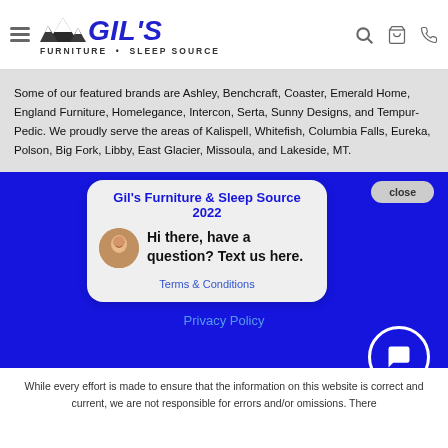[Figure (logo): Gil's Furniture & Sleep Source logo with mountain graphic and text]
Some of our featured brands are Ashley, Benchcraft, Coaster, Emerald Home, England Furniture, Homelegance, Intercon, Serta, Sunny Designs, and Tempur-Pedic. We proudly serve the areas of Kalispell, Whitefish, Columbia Falls, Eureka, Polson, Big Fork, Libby, East Glacier, Missoula, and Lakeside, MT.
close
Gil's Furniture & Sleep Source 2022
Hi there, have a question? Text us here.
Terms & Conditions
Privacy Policy
While every effort is made to ensure that the information on this website is correct and current, we are not responsible for errors and/or omissions. There